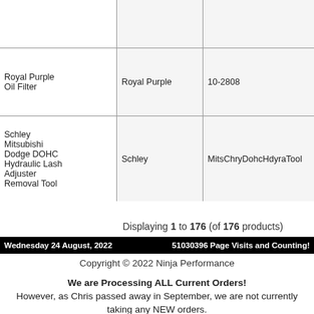| Product | Brand | Model |
| --- | --- | --- |
|  |  |  |
| Royal Purple Oil Filter | Royal Purple | 10-2808 |
| Schley Mitsubishi Dodge DOHC Hydraulic Lash Adjuster Removal Tool | Schley | MitsChryDohcHdyraTool |
Displaying 1 to 176 (of 176 products)
Wednesday 24 August, 2022    51030396 Page Visits and Counting!
Copyright © 2022 Ninja Performance
We are Processing ALL Current Orders! However, as Chris passed away in September, we are not currently taking any NEW orders. Please stay tuned to the FB Business page for future updates. Thank you all for your support, this meant the world to Chris.